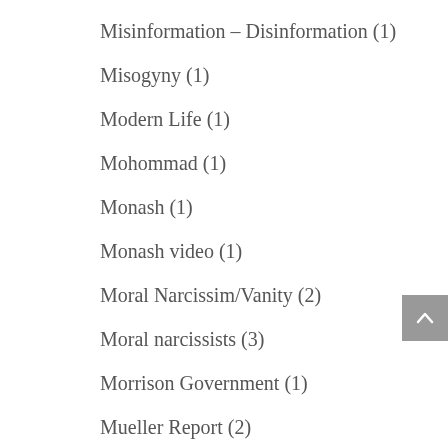Misinformation – Disinformation (1)
Misogyny (1)
Modern Life (1)
Mohommad (1)
Monash (1)
Monash video (1)
Moral Narcissim/Vanity (2)
Moral narcissists (3)
Morrison Government (1)
Mueller Report (2)
Multiculturalism (19)
Muslim Brotherhood (2)